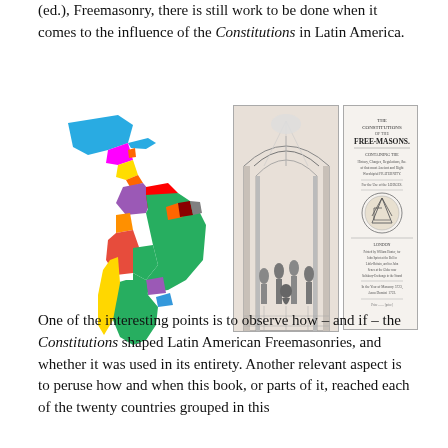(ed.), Freemasonry, there is still work to be done when it comes to the influence of the Constitutions in Latin America.
[Figure (map): Colorful political map of Latin America showing countries in distinct colors including blue, green, yellow, orange, red, magenta, and other colors.]
[Figure (illustration): Historical engraving showing a Masonic ceremony or gathering inside a grand hall with arched architecture.]
[Figure (illustration): Title page of 'The Constitutions of the Free-Masons' document with ornate text and decorative emblem.]
One of the interesting points is to observe how – and if – the Constitutions shaped Latin American Freemasonries, and whether it was used in its entirety. Another relevant aspect is to peruse how and when this book, or parts of it, reached each of the twenty countries grouped in this